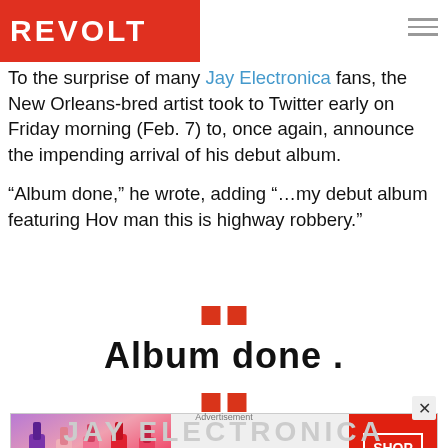REVOLT
To the surprise of many Jay Electronica fans, the New Orleans-bred artist took to Twitter early on Friday morning (Feb. 7) to, once again, announce the impending arrival of his debut album.
“Album done,” he wrote, adding “…my debut album featuring Hov man this is highway robbery.”
[Figure (other): Two small red squares used as a decorative divider]
Album done .
[Figure (other): Two small red squares used as a decorative divider, second instance]
[Figure (other): MAC cosmetics advertisement banner with lipsticks and SHOP NOW button]
Advertisement
JAY ELECTRONICA